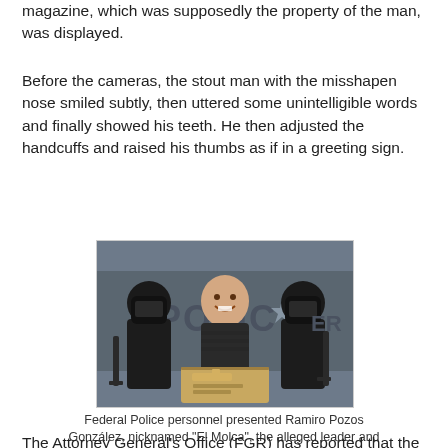magazine, which was supposedly the property of the man, was displayed.
Before the cameras, the stout man with the misshapen nose smiled subtly, then uttered some unintelligible words and finally showed his teeth. He then adjusted the handcuffs and raised his thumbs as if in a greeting sign.
[Figure (photo): Federal Police personnel flanking Ramiro Pozos González, nicknamed 'El Molca', the alleged leader and founder of the criminal organization known as La Resistencia. He is standing in front of a police vehicle, smiling, with a box displaying a gold-colored firearm in front of him. The officers are dressed in all-black tactical gear.]
Federal Police personnel presented Ramiro Pozos González, nicknamed "El Molca", the alleged leader and founder of the criminal organization known as La Resistencia.
The Attorney General's Office (FGR) has reported that the